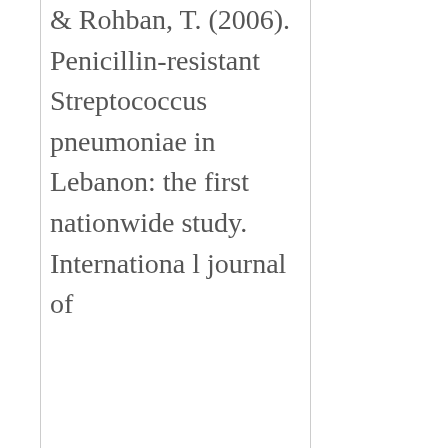& Rohban, T. (2006). Penicillin-resistant Streptococcus pneumoniae in Lebanon: the first nationwide study. International journal of